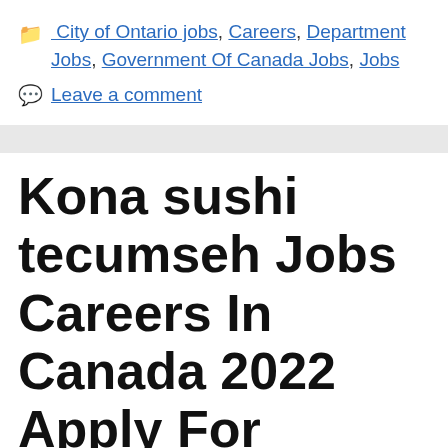City of Ontario jobs, Careers, Department Jobs, Government Of Canada Jobs, Jobs
Leave a comment
Kona sushi tecumseh Jobs Careers In Canada 2022 Apply For Dishwasher Jobs In Tecumseh, Ontario Canada